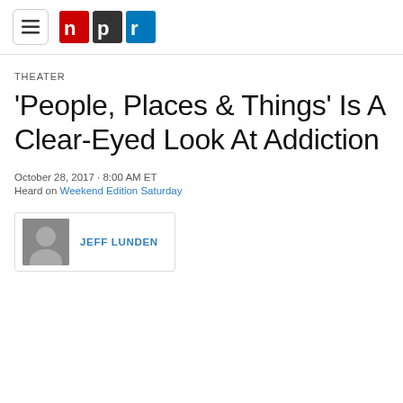NPR navigation header with hamburger menu and NPR logo
THEATER
'People, Places & Things' Is A Clear-Eyed Look At Addiction
October 28, 2017 · 8:00 AM ET
Heard on Weekend Edition Saturday
JEFF LUNDEN